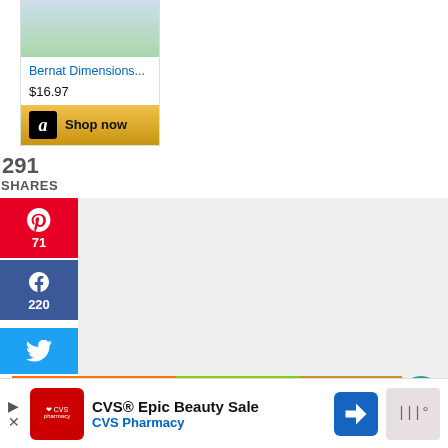[Figure (screenshot): Product card showing Bernat Dimensions item with image placeholder, price $16.97, and Amazon Shop now button]
Bernat Dimensions...
$16.97
Shop now
291
SHARES
71
220
[Figure (screenshot): Social share buttons: Pinterest (71), Facebook (220), Twitter]
[Figure (screenshot): Ad banner: 43 Children A Day Are Diagnosed With Cancer in the U.S. - Cookies for Kids Cancer - Let's Get Baking]
292
[Figure (screenshot): CVS Epic Beauty Sale advertisement with CVS Pharmacy logo and navigation arrow icon]